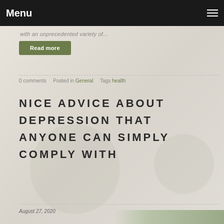Menu
with an unprecedented variety of...
Read more
0 comments   Posted in General   Tags health
NICE ADVICE ABOUT DEPRESSION THAT ANYONE CAN SIMPLY COMPLY WITH
August 27, 2020